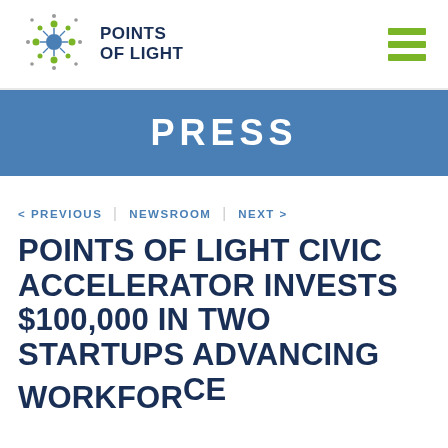POINTS OF LIGHT
PRESS
< PREVIOUS | NEWSROOM | NEXT >
POINTS OF LIGHT CIVIC ACCELERATOR INVESTS $100,000 IN TWO STARTUPS ADVANCING WORKFORCE